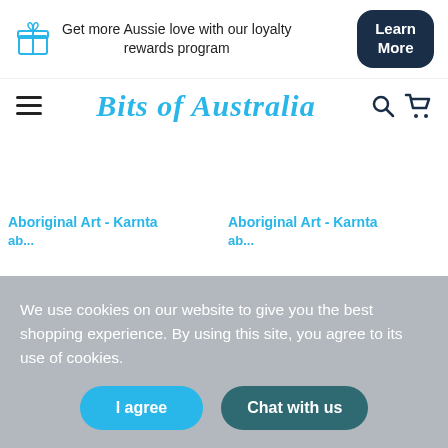Get more Aussie love with our loyalty rewards program
Learn More
[Figure (logo): Bits of Australia logo in blue italic script]
Aboriginal Art - Karnta
Aboriginal Art - Karnta
We use cookies on our website to give you the best shopping experience. By using this site, you agree to its use of cookies.
I agree
Chat with us